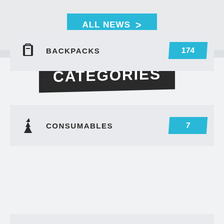ALL NEWS >
CATEGORIES
BACKPACKS 174
CONSUMABLES 7
EMOTES 357
EMOTICONS 178
GLIDERS ...